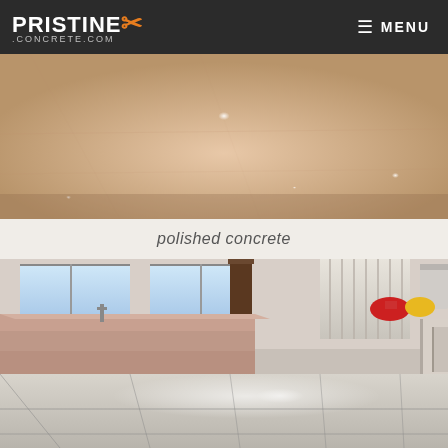PRISTINE X .CONCRETE.COM  MENU
[Figure (photo): Wide view of a polished concrete floor with warm pinkish-tan tones and reflective gloss highlights]
polished concrete
[Figure (photo): Interior room with polished/tiled concrete floor with grid lines, pink-tan stepped concrete bench or ledge along left wall, windows at back, and construction materials visible]